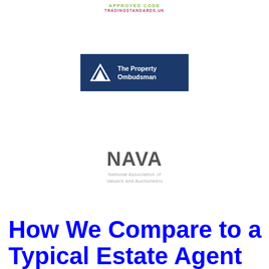[Figure (logo): Approved Code Trading Standards UK logo with green and pink text]
[Figure (logo): The Property Ombudsman logo — dark blue rectangle with white mountain/house icon and white text]
[Figure (logo): NAVA logo — National Association of Valuers and Auctioneers, grey bold text]
How We Compare to a Typical Estate Agent